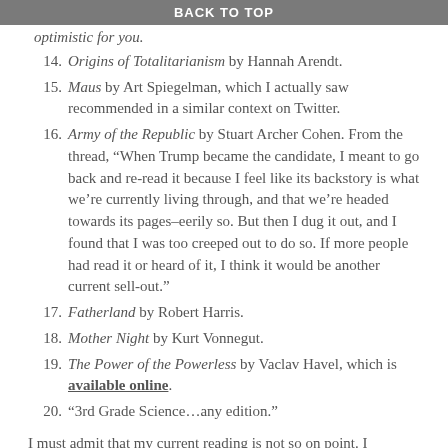BACK TO TOP
Origins of Totalitarianism by Hannah Arendt.
Maus by Art Spiegelman, which I actually saw recommended in a similar context on Twitter.
Army of the Republic by Stuart Archer Cohen. From the thread, “When Trump became the candidate, I meant to go back and re-read it because I feel like its backstory is what we’re currently living through, and that we’re headed towards its pages–eerily so. But then I dug it out, and I found that I was too creeped out to do so. If more people had read it or heard of it, I think it would be another current sell-out.”
Fatherland by Robert Harris.
Mother Night by Kurt Vonnegut.
The Power of the Powerless by Vaclav Havel, which is available online.
“3rd Grade Science…any edition.”
I must admit that my current reading is not so on point. I